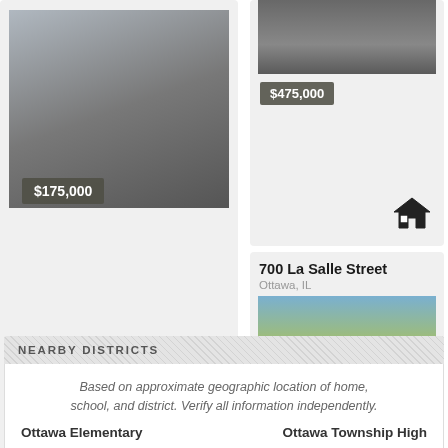[Figure (photo): Building exterior photo with parking lot, price badge $175,000]
[Figure (photo): Aerial/ground photo with price badge $475,000]
700 La Salle Street
Ottawa, IL
[Figure (photo): Street-level photo of commercial building with price badge $234,950]
NEARBY DISTRICTS
Based on approximate geographic location of home, school, and district. Verify all information independently.
Ottawa Elementary
Ottawa Township High